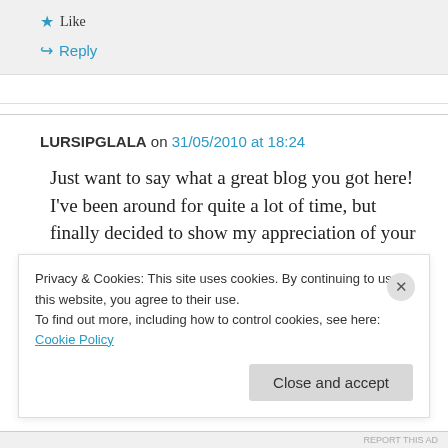★ Like
↪ Reply
LURSIPGLALA on 31/05/2010 at 18:24
Just want to say what a great blog you got here! I've been around for quite a lot of time, but finally decided to show my appreciation of your work!
Privacy & Cookies: This site uses cookies. By continuing to use this website, you agree to their use.
To find out more, including how to control cookies, see here: Cookie Policy
Close and accept